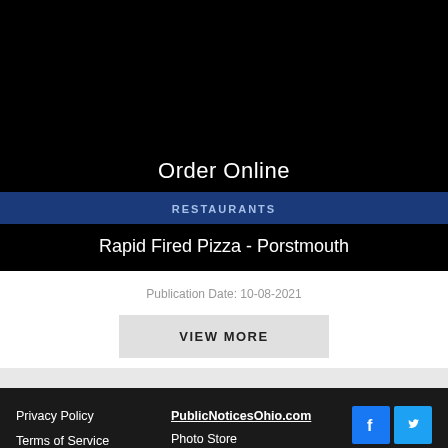[Figure (screenshot): Black background area at top of page, appears to be a video or image placeholder]
Order Online
RESTAURANTS
Rapid Fired Pizza - Porstmouth
Publication Date: 10-08-2021
VIEW MORE
Privacy Policy
Terms of Service
Advertise With Us
PublicNoticesOhio.com
Photo Store
Local Business
Directory
Get News